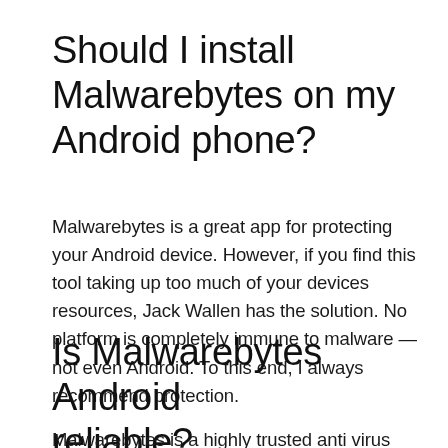Should I install Malwarebytes on my Android phone?
Malwarebytes is a great app for protecting your Android device. However, if you find this tool taking up too much of your devices resources, Jack Wallen has the solution. No platform is completely immune to malware — not even Android. To this end, I always recommend protection.
Is Malwarebytes Android reliable?
Malwarebytes is a highly trusted anti virus